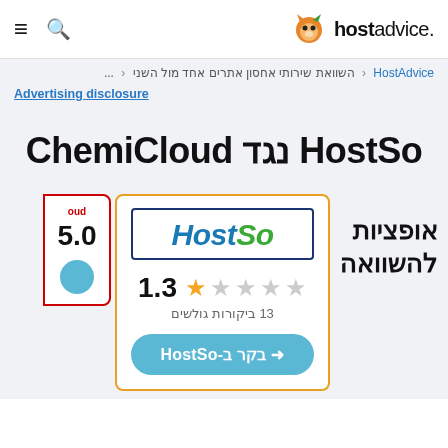≡  🔍   hostadvice.
HostAdvice < השוואת שירותי אחסון אתרים אחד מול השני < ...
Advertising disclosure
HostSo נגד ChemiCloud
אופציות להשוואה
[Figure (screenshot): HostSo logo card with 1.3 star rating (out of 5), 13 ביקורות גולשים, and a visit button labeled בקר ב-HostSo]
oud
5.0
1.3
13 ביקורות גולשים
בקר ב-HostSo